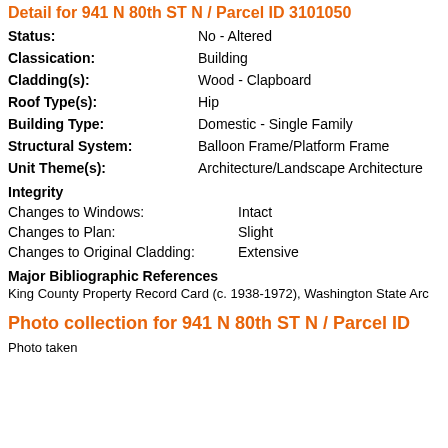Detail for 941 N 80th ST N / Parcel ID 3101050...
Status: No - Altered
Classication: Building
Cladding(s): Wood - Clapboard
Roof Type(s): Hip
Building Type: Domestic - Single Family
Structural System: Balloon Frame/Platform Frame
Unit Theme(s): Architecture/Landscape Architecture
Integrity
Changes to Windows: Intact
Changes to Plan: Slight
Changes to Original Cladding: Extensive
Major Bibliographic References
King County Property Record Card (c. 1938-1972), Washington State Arc...
Photo collection for 941 N 80th ST N / Parcel ID...
Photo taken